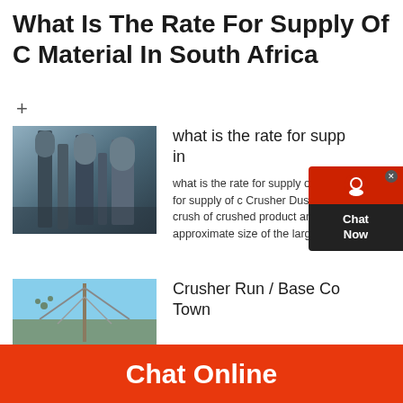What Is The Rate For Supply Of C Material In South Africa
+
[Figure (photo): Industrial plant or factory with silos and metal structures photographed from below]
what is the rate for supp in

what is the rate for supply of c what is the rate for supply of c Crusher Dust This is the finest crush of crushed product and used in the approximate size of the largest ston
[Figure (photo): Construction crane or industrial equipment against a blue sky]
Crusher Run / Base Co Town
Chat Online